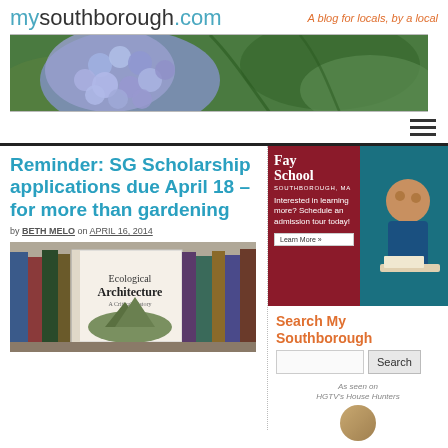mysouthborough.com — A blog for locals, by a local
[Figure (photo): Hero banner image of blue hydrangea flowers with green leaves]
[Figure (other): Hamburger navigation menu icon (three horizontal lines)]
Reminder: SG Scholarship applications due April 18 – for more than gardening
by BETH MELO on APRIL 16, 2014
[Figure (photo): Photo of a book titled Ecological Architecture on a bookshelf]
[Figure (photo): Fay School advertisement — Interested in learning more? Schedule an admission tour today! Learn More »]
Search My Southborough
[Figure (other): As seen on HGTV's House Hunters logo with avatar photo]